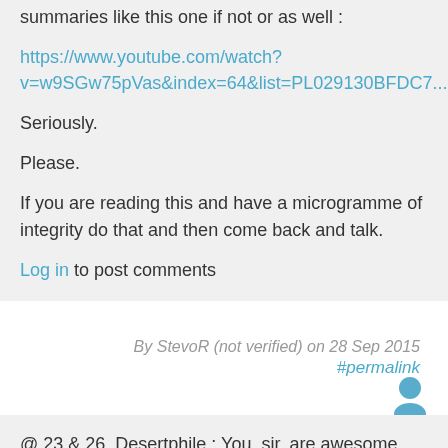summaries like this one if not or as well :
https://www.youtube.com/watch?v=w9SGw75pVas&index=64&list=PL029130BFDC7...
Seriously.
Please.
If you are reading this and have a microgramme of integrity do that and then come back and talk.
Log in to post comments
By StevoR (not verified) on 28 Sep 2015
#permalink
[Figure (illustration): User avatar icon - person silhouette in blue/teal color]
@ 23 & 26. Desertphile : You, sir, are awesome. Huge respect from me.
I just don't have a car*, have rooftop solar panels and try to plant local natives and generally do my best for our environment and natural